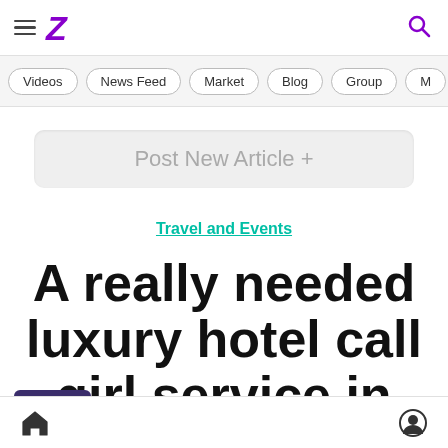Z [logo] | hamburger menu | search icon
Videos | News Feed | Market | Blog | Group | M...
Post New Article +
Travel and Events
A really needed luxury hotel call girl service in Mahipalpur
Home icon | User icon